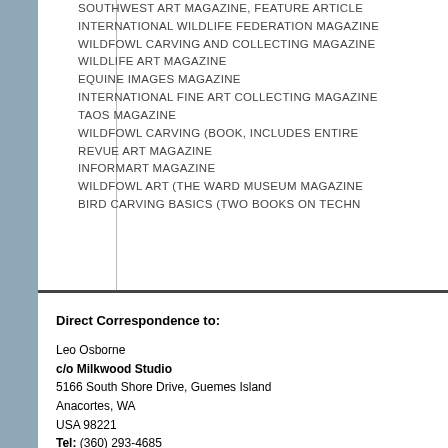SOUTHWEST ART MAGAZINE, FEATURE ARTICLE
INTERNATIONAL WILDLIFE FEDERATION MAGAZINE
WILDFOWL CARVING AND COLLECTING MAGAZINE
WILDLIFE ART MAGAZINE
EQUINE IMAGES MAGAZINE
INTERNATIONAL FINE ART COLLECTING MAGAZINE
TAOS MAGAZINE
WILDFOWL CARVING (BOOK, INCLUDES ENTIRE
REVUE ART MAGAZINE
INFORMART MAGAZINE
WILDFOWL ART (THE WARD MUSEUM MAGAZINE
BIRD CARVING BASICS (TWO BOOKS ON TECHN
Direct Correspondence to:

Leo Osborne
c/o Milkwood Studio
5166 South Shore Drive, Guemes Island
Anacortes, WA
USA 98221
Tel: (360) 293-4685
Fax: (360) 293-4685
Email: milkwoodstudio@hotmail.com
Home Page: http://www.leoosborne.com